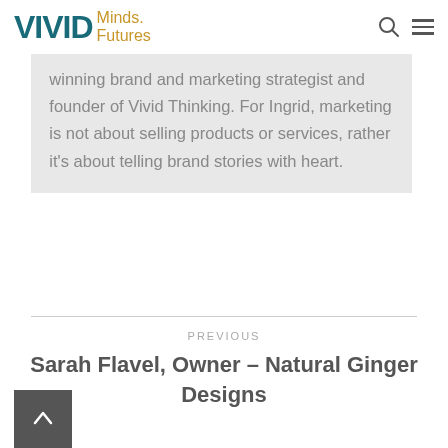VIVID Minds. Futures
winning brand and marketing strategist and founder of Vivid Thinking. For Ingrid, marketing is not about selling products or services, rather it's about telling brand stories with heart.
PREVIOUS
Sarah Flavel, Owner – Natural Ginger Designs